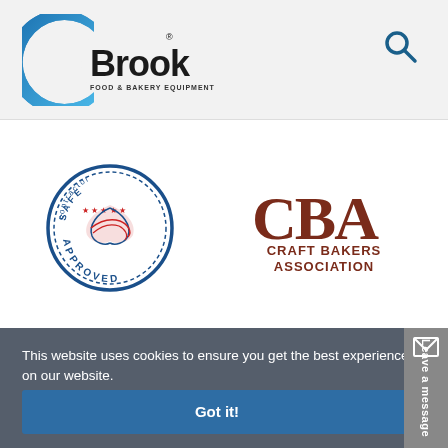[Figure (logo): Brook Food & Bakery Equipment logo with stylized C arc in blue gradient and bold black text 'Brook' with registered trademark, subtitle 'FOOD & BAKERY EQUIPMENT']
[Figure (logo): SAFEcontractor Approved circular badge logo in blue and red]
[Figure (logo): CBA Craft Bakers Association logo in dark brown/maroon]
This website uses cookies to ensure you get the best experience on our website.
Learn more
Got it!